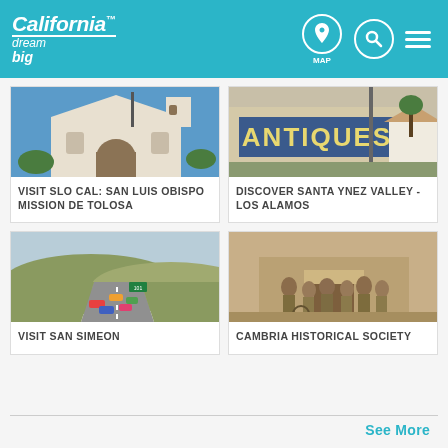California Dream Big - MAP
[Figure (photo): White mission building with arched entrance and bell tower]
VISIT SLO CAL: SAN LUIS OBISPO MISSION DE TOLOSA
[Figure (photo): Antiques shop storefront with large sign reading ANTIQUES]
DISCOVER SANTA YNEZ VALLEY - LOS ALAMOS
[Figure (photo): Colorful sports cars driving along a highway through farmland]
VISIT SAN SIMEON
[Figure (photo): Black and white historical photo of people gathered outside a building]
CAMBRIA HISTORICAL SOCIETY
See More